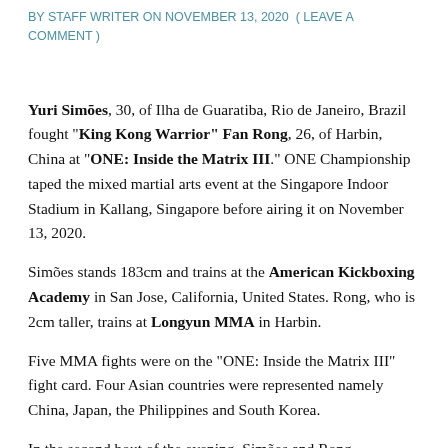BY STAFF WRITER ON NOVEMBER 13, 2020 ( LEAVE A COMMENT )
Yuri Simões, 30, of Ilha de Guaratiba, Rio de Janeiro, Brazil fought "King Kong Warrior" Fan Rong, 26, of Harbin, China at "ONE: Inside the Matrix III." ONE Championship taped the mixed martial arts event at the Singapore Indoor Stadium in Kallang, Singapore before airing it on November 13, 2020.
Simões stands 183cm and trains at the American Kickboxing Academy in San Jose, California, United States. Rong, who is 2cm taller, trains at Longyun MMA in Harbin.
Five MMA fights were on the "ONE: Inside the Matrix III" fight card. Four Asian countries were represented namely China, Japan, the Philippines and South Korea.
In the second bout of the evening, Simões and Rong